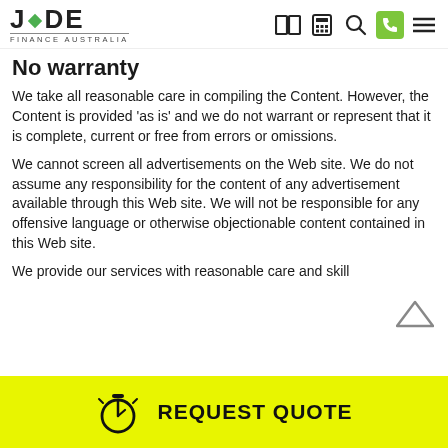JADE FINANCE AUSTRALIA
No warranty
We take all reasonable care in compiling the Content. However, the Content is provided 'as is' and we do not warrant or represent that it is complete, current or free from errors or omissions.
We cannot screen all advertisements on the Web site. We do not assume any responsibility for the content of any advertisement available through this Web site. We will not be responsible for any offensive language or otherwise objectionable content contained in this Web site.
We provide our services with reasonable care and skill
[Figure (other): Scroll to top arrow icon]
REQUEST QUOTE